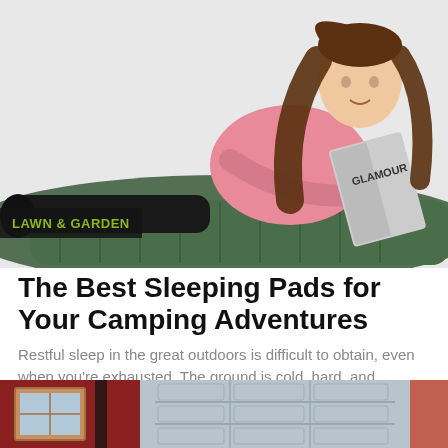[Figure (photo): Young woman with long brown hair wearing a pink t-shirt, lying on a dark green sleeping pad/air mattress, reading a Glamour magazine. White background.]
LAWN & GARDEN
The Best Sleeping Pads for Your Camping Adventures
Restful sleep in the great outdoors is difficult to obtain, even when you're exhausted. The ground is cold, hard, and...
over 1 year ago
[Figure (photo): Partial view of a house exterior showing a white garage door, red/maroon siding on either side.]